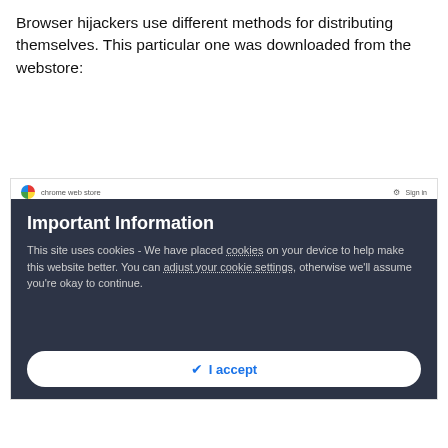Browser hijackers use different methods for distributing themselves. This particular one was downloaded from the webstore:
[Figure (screenshot): Chrome Web Store screenshot showing GlobalPDFConvertorSearch extension page with breadcrumb navigation, extension icon, name, rating, Productivity category, user count, Add to Chrome button, Overview/Reviews/Related tabs, and a pink banner. Overlaid with a dark cookie consent notice reading 'Important Information - This site uses cookies - We have placed cookies on your device to help make this website better. You can adjust your cookie settings, otherwise we'll assume you're okay to continue.' with an I accept button.]